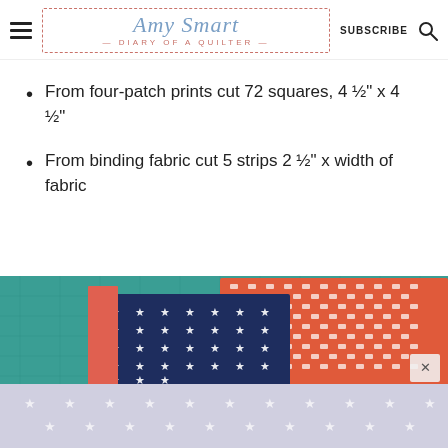Amy Smart — Diary of a Quilter | SUBSCRIBE
From four-patch prints cut 72 squares, 4 ½" x 4 ½"
From binding fabric cut 5 strips 2 ½" x width of fabric
[Figure (photo): Photo of quilting fabric pieces on a green cutting mat, showing navy blue with white stars, orange/red houndstooth, and gray/white star patterns. An x-close button is visible in the lower right of the image.]